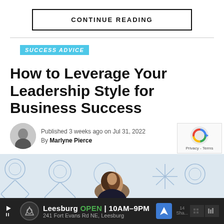CONTINUE READING
SUCCESS ADVICE
How to Leverage Your Leadership Style for Business Success
Published 3 weeks ago on Jul 31, 2022
By Marlyne Pierce
[Figure (photo): Hero image showing a woman with brown hair in front of a decorative geometric wall pattern in blue and white]
Leesburg OPEN 10AM–9PM 241 Fort Evans Rd NE, Leesburg